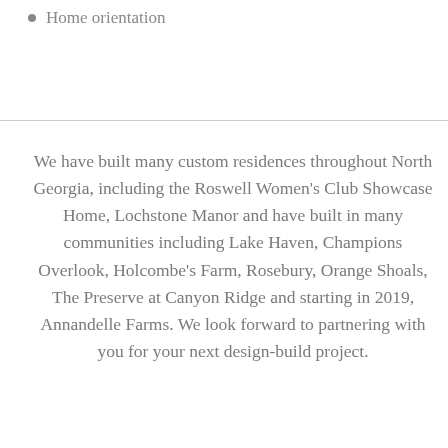Home orientation
We have built many custom residences throughout North Georgia, including the Roswell Women's Club Showcase Home, Lochstone Manor and have built in many communities including Lake Haven, Champions Overlook, Holcombe's Farm, Rosebury, Orange Shoals, The Preserve at Canyon Ridge and starting in 2019, Annandelle Farms. We look forward to partnering with you for your next design-build project.